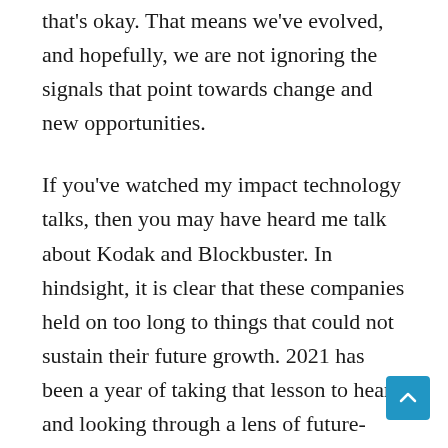that's okay. That means we've evolved, and hopefully, we are not ignoring the signals that point towards change and new opportunities.
If you've watched my impact technology talks, then you may have heard me talk about Kodak and Blockbuster. In hindsight, it is clear that these companies held on too long to things that could not sustain their future growth. 2021 has been a year of taking that lesson to heart and looking through a lens of future-proofing our business.
We will carry forward the things that have worked really well for us in 2021. We will also continue to